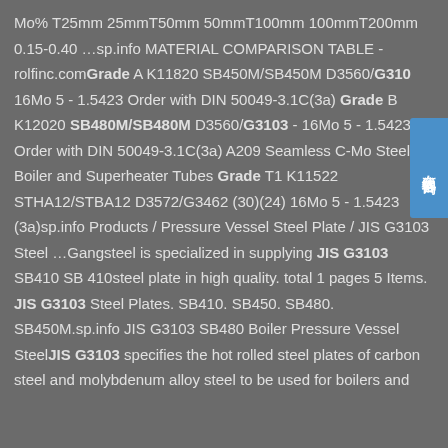Mo% T25mm 25mmT50mm 50mmT100mm 100mmT200mm 0.15-0.40 …sp.info MATERIAL COMPARISON TABLE - rolfinc.comGrade A K11820 SB450M/SB450M D3560/G310 16Mo 5 - 1.5423 Order with DIN 50049-3.1C(3a) Grade B K12020 SB480M/SB480M D3560/G3103 - 16Mo 5 - 1.5423 Order with DIN 50049-3.1C(3a) A209 Seamless C-Mo Steel Boiler and Superheater Tubes Grade T1 K11522 STHA12/STBA12 D3572/G3462 (30)(24) 16Mo 5 - 1.5423 (3a)sp.info Products / Pressure Vessel Steel Plate / JIS G3103 Steel …Gangsteel is specialized in supplying JIS G3103 SB410 SB 410steel plate in high quality. total 1 pages 5 Items. JIS G3103 Steel Plates. SB410. SB450. SB480. SB450M.sp.info JIS G3103 SB480 Boiler Pressure Vessel SteelJIS G3103 specifies the hot rolled steel plates of carbon steel and molybdenum alloy steel to be used for boilers and